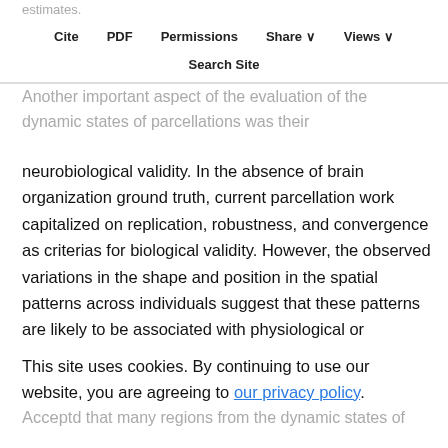estimates.
Cite   PDF   Permissions   Share ∨   Views ∨
Search Site
Another important aspect of the evaluation of the dynamic states of parcellations was their neurobiological validity. In the absence of brain organization ground truth, current parcellation work capitalized on replication, robustness, and convergence as criterias for biological validity. However, the observed variations in the shape and position in the spatial patterns across individuals suggest that these patterns are likely to be associated with physiological or cognitive processes (Eickhoff et al., 2018). As pointed out in the previous section, our quantitative
This site uses cookies. By continuing to use our website, you are agreeing to our privacy policy. Accept
d that many regions from the dynamic states of